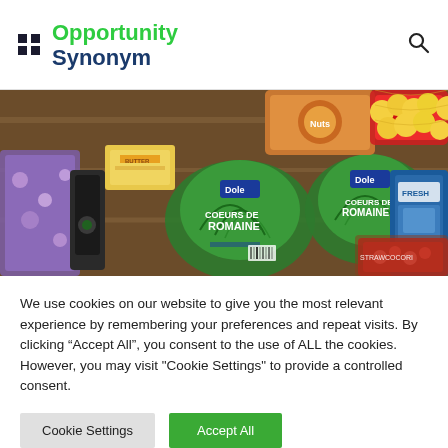Opportunity Synonym
[Figure (photo): Overhead view of grocery store produce and packaged goods including romaine lettuce, lemons, berries, butter, and other food items on a wooden surface]
We use cookies on our website to give you the most relevant experience by remembering your preferences and repeat visits. By clicking “Accept All”, you consent to the use of ALL the cookies. However, you may visit "Cookie Settings" to provide a controlled consent.